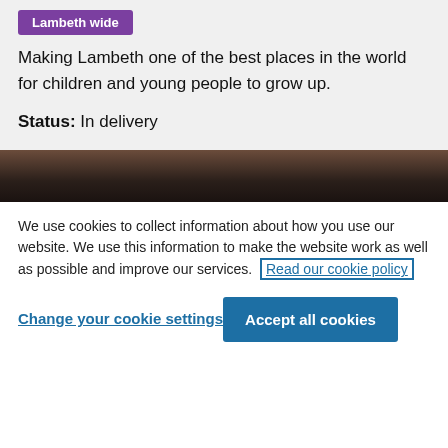Lambeth wide
Making Lambeth one of the best places in the world for children and young people to grow up.
Status: In delivery
[Figure (photo): Dark toned photograph strip, partially visible]
We use cookies to collect information about how you use our website. We use this information to make the website work as well as possible and improve our services. Read our cookie policy
Change your cookie settings
Accept all cookies